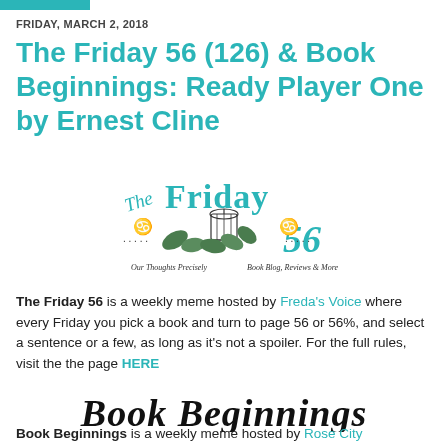FRIDAY, MARCH 2, 2018
The Friday 56 (126) & Book Beginnings: Ready Player One by Ernest Cline
[Figure (logo): The Friday 56 decorative logo with birdcage, leaves, text 'Our Thoughts Precisely' and 'Book Blog, Reviews & More']
The Friday 56 is a weekly meme hosted by Freda's Voice where every Friday you pick a book and turn to page 56 or 56%, and select a sentence or a few, as long as it's not a spoiler. For the full rules, visit the the page HERE
[Figure (logo): Book Beginnings decorative script logo]
Book Beginnings is a weekly meme hosted by Rose City